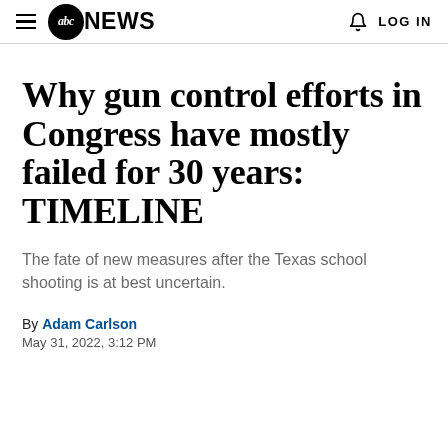abc NEWS   LOG IN
Why gun control efforts in Congress have mostly failed for 30 years: TIMELINE
The fate of new measures after the Texas school shooting is at best uncertain.
By Adam Carlson
May 31, 2022, 3:12 PM